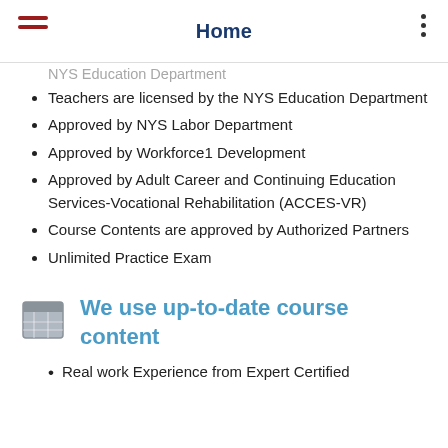Home
NYS Education Department (partial, cut off at top)
Teachers are licensed by the NYS Education Department
Approved by NYS Labor Department
Approved by Workforce1 Development
Approved by Adult Career and Continuing Education Services-Vocational Rehabilitation (ACCES-VR)
Course Contents are approved by Authorized Partners
Unlimited Practice Exam
We use up-to-date course content
Real work Experience from Expert Certified